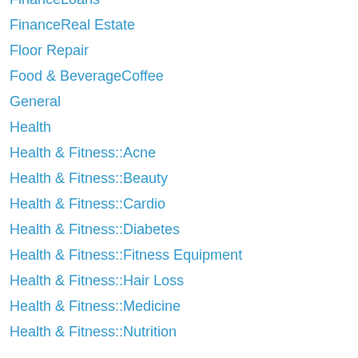FinanceLoans
FinanceReal Estate
Floor Repair
Food & BeverageCoffee
General
Health
Health & Fitness::Acne
Health & Fitness::Beauty
Health & Fitness::Cardio
Health & Fitness::Diabetes
Health & Fitness::Fitness Equipment
Health & Fitness::Hair Loss
Health & Fitness::Medicine
Health & Fitness::Nutrition